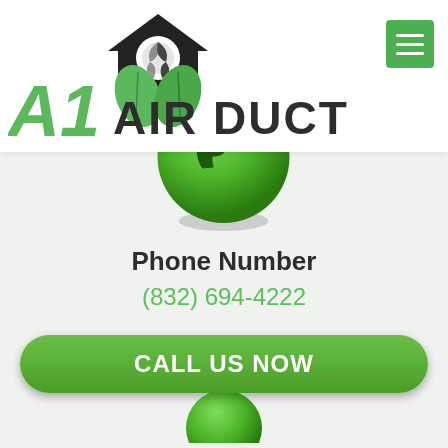[Figure (logo): A1 Air Duct company logo with house/fan icon and green leaves, with green stylized 'A1' text and 'AIR DUCT' in dark bold letters]
[Figure (illustration): Green glossy circular phone/call button icon with white telephone handset symbol]
Phone Number
(832) 694-4222
[Figure (illustration): Partially visible green glossy circular icon at bottom]
CALL US NOW